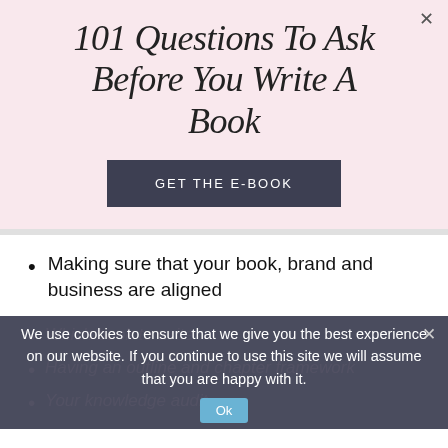101 Questions To Ask Before You Write A Book
[Figure (other): Dark grey button with text GET THE E-BOOK]
Making sure that your book, brand and business are aligned
Which book to write
Having an outline and chapter framework
Your knowledge audit
We use cookies to ensure that we give you the best experience on our website. If you continue to use this site we will assume that you are happy with it.